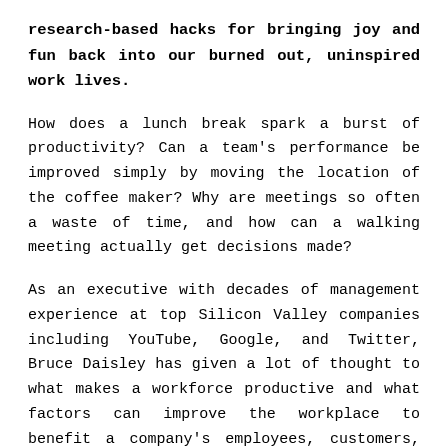research-based hacks for bringing joy and fun back into our burned out, uninspired work lives.
How does a lunch break spark a burst of productivity? Can a team's performance be improved simply by moving the location of the coffee maker? Why are meetings so often a waste of time, and how can a walking meeting actually get decisions made?
As an executive with decades of management experience at top Silicon Valley companies including YouTube, Google, and Twitter, Bruce Daisley has given a lot of thought to what makes a workforce productive and what factors can improve the workplace to benefit a company's employees, customers, and bottom line. In his debut book, he shares what he's discovered, offering practical, often counterintuitive, insights and solutions for reinvigorating work to give us more meaning, productivity, and joy at the office.